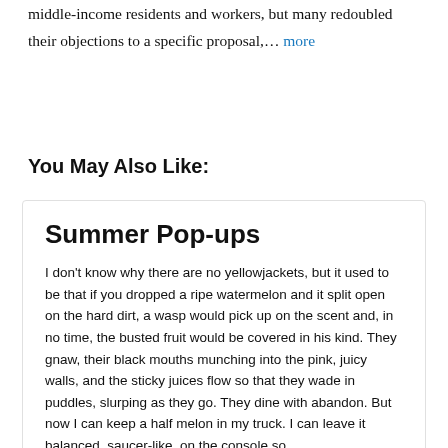middle-income residents and workers, but many redoubled their objections to a specific proposal,… more
You May Also Like:
Summer Pop-ups
I don't know why there are no yellowjackets, but it used to be that if you dropped a ripe watermelon and it split open on the hard dirt, a wasp would pick up on the scent and, in no time, the busted fruit would be covered in his kind. They gnaw, their black mouths munching into the pink, juicy walls, and the sticky juices flow so that they wade in puddles, slurping as they go. They dine with abandon. But now I can keep a half melon in my truck. I can leave it balanced, saucer-like, on the console so …
16 Aug 2022 by Marilee Foster